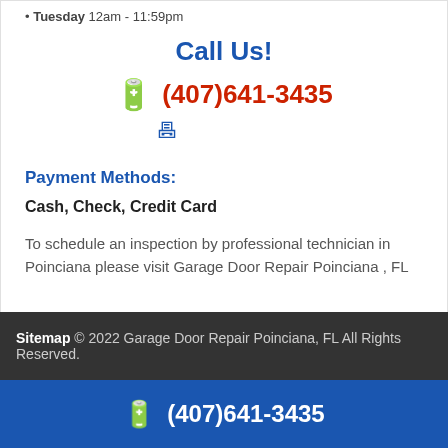Tuesday 12am - 11:59pm
Call Us!
(407)641-3435
Payment Methods:
Cash, Check, Credit Card
To schedule an inspection by professional technician in Poinciana please visit Garage Door Repair Poinciana , FL
Sitemap © 2022 Garage Door Repair Poinciana, FL All Rights Reserved.
(407)641-3435